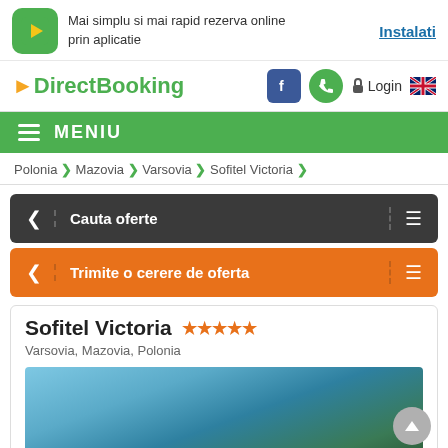[Figure (screenshot): DirectBooking mobile app banner with green app icon showing a play-button arrow. Text: 'Mai simplu si mai rapid rezerva online prin aplicatie'. Link: 'Instalati']
DirectBooking — navigation bar with Facebook icon, phone icon, Login, and UK flag
MENIU
Polonia > Mazovia > Varsovia > Sofitel Victoria >
Cauta oferte
Trimite o cerere de oferta
Sofitel Victoria ★★★★★
Varsovia, Mazovia, Polonia
[Figure (photo): Blurred hotel exterior photo with blue sky and greenery]